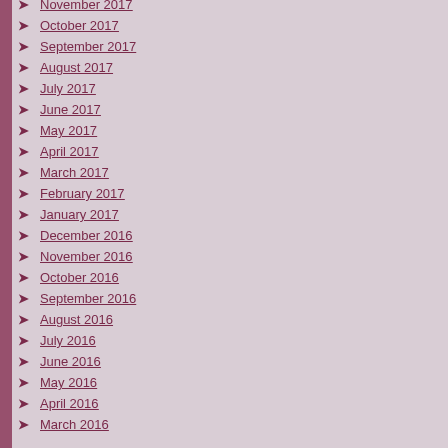November 2017
October 2017
September 2017
August 2017
July 2017
June 2017
May 2017
April 2017
March 2017
February 2017
January 2017
December 2016
November 2016
October 2016
September 2016
August 2016
July 2016
June 2016
May 2016
April 2016
March 2016